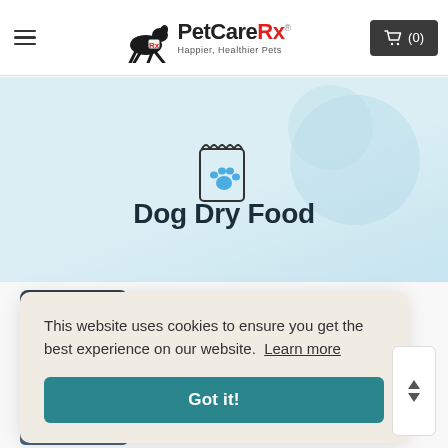PetCareRx – Happier, Healthier Pets
[Figure (illustration): Pet food bag icon with paw print, displayed in a light blue hero banner section]
Dog Dry Food
This website uses cookies to ensure you get the best experience on our website. Learn more
Got it!